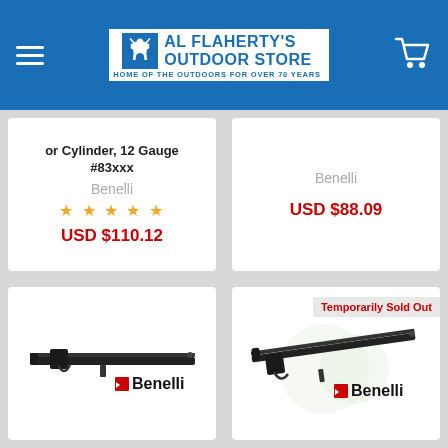Al Flaherty's Outdoor Store — Home of the Outdoors for Over 70 Years
or Cylinder, 12 Gauge #83xxx
Benelli
★★★★★
USD $110.12
Benelli
USD $88.09
[Figure (photo): Benelli shotgun barrel product photo with Benelli logo]
[Figure (photo): Benelli shotgun barrel product photo with Benelli logo, marked Temporarily Sold Out]
Temporarily Sold Out